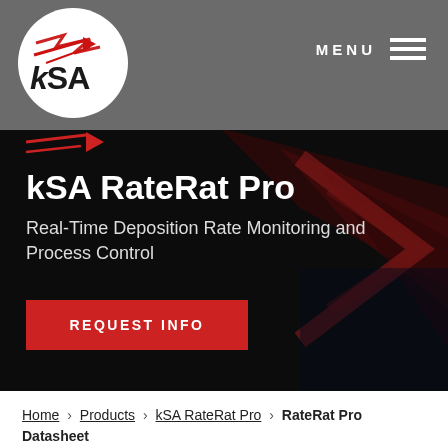kSA — MENU
[Figure (logo): kSA logo: white circle with red chevron/arrow and bold kSA text]
kSA RateRat Pro
Real-Time Deposition Rate Monitoring and Process Control
REQUEST INFO
Home › Products › kSA RateRat Pro › RateRat Pro Datasheet